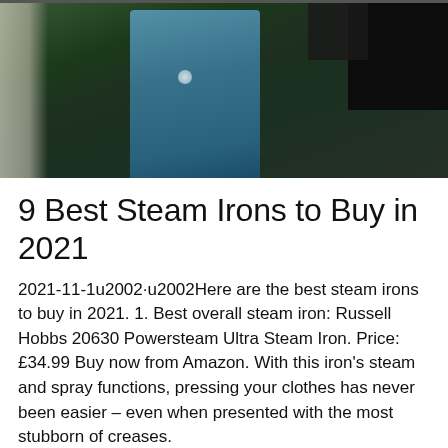[Figure (photo): Photo of a steam iron on a dark green background, showing a blue/teal iron body with a dark appliance or stand to the right and a light-colored ironing board edge on the left.]
9 Best Steam Irons to Buy in 2021
2021-11-1u2002·u2002Here are the best steam irons to buy in 2021. 1. Best overall steam iron: Russell Hobbs 20630 Powersteam Ultra Steam Iron. Price: £34.99 Buy now from Amazon. With this iron's steam and spray functions, pressing your clothes has never been easier – even when presented with the most stubborn of creases.
Get Price